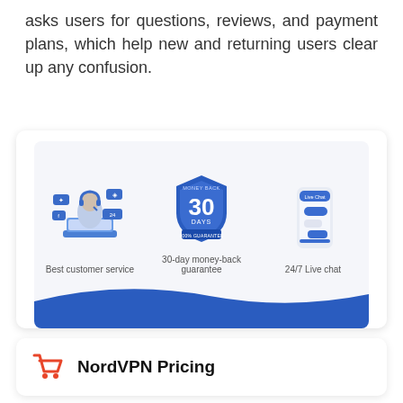asks users for questions, reviews, and payment plans, which help new and returning users clear up any confusion.
[Figure (illustration): A promotional banner showing three icons: a customer service representative with headset and laptop (labeled 'Best customer service'), a blue shield badge with '30 DAYS 100% GUARANTEE' (labeled '30-day money-back guarantee'), and a mobile phone with chat bubbles (labeled '24/7 Live chat'). The bottom of the banner has a blue wave design.]
NordVPN Pricing